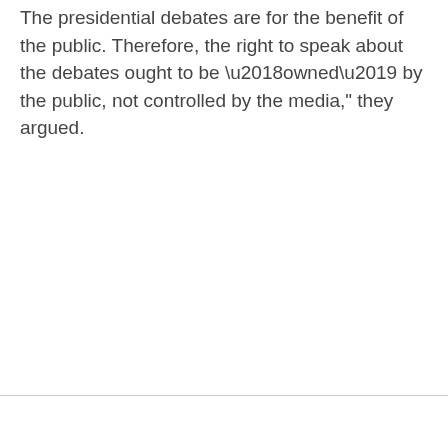The presidential debates are for the benefit of the public. Therefore, the right to speak about the debates ought to be ‘owned’ by the public, not controlled by the media," they argued.